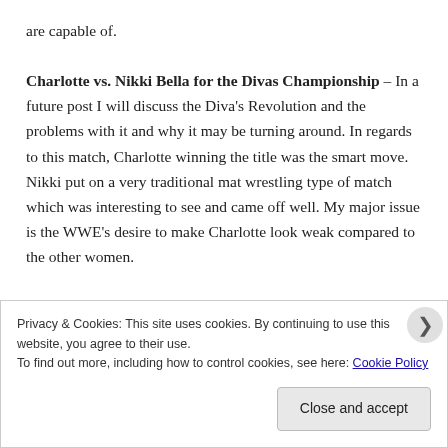are capable of.

Charlotte vs. Nikki Bella for the Divas Championship – In a future post I will discuss the Diva's Revolution and the problems with it and why it may be turning around. In regards to this match, Charlotte winning the title was the smart move. Nikki put on a very traditional mat wrestling type of match which was interesting to see and came off well. My major issue is the WWE's desire to make Charlotte look weak compared to the other women.
Privacy & Cookies: This site uses cookies. By continuing to use this website, you agree to their use.
To find out more, including how to control cookies, see here: Cookie Policy